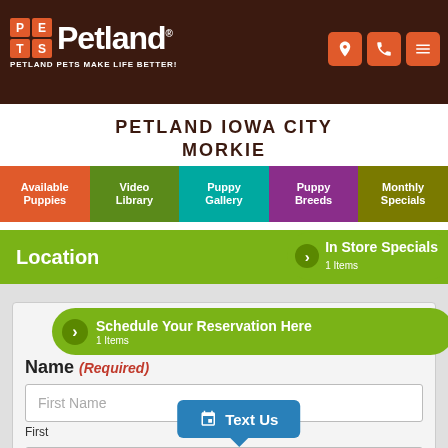[Figure (logo): Petland logo with pet store icon and tagline 'Petland Pets Make Life Better!']
PETLAND IOWA CITY
MORKIE
Available Puppies
Video Library
Puppy Gallery
Puppy Breeds
Monthly Specials
In Store Specials
1 Items
Location
Schedule Your Reservation Here
1 Items
Name (Required)
First Name
First
Last Name
Last
Text Us